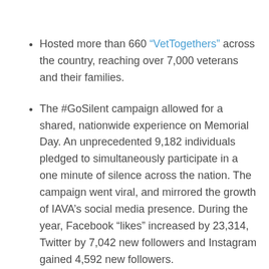Hosted more than 660 "VetTogethers" across the country, reaching over 7,000 veterans and their families.
The #GoSilent campaign allowed for a shared, nationwide experience on Memorial Day. An unprecedented 9,182 individuals pledged to simultaneously participate in a one minute of silence across the nation. The campaign went viral, and mirrored the growth of IAVA's social media presence. During the year, Facebook "likes" increased by 23,314, Twitter by 7,042 new followers and Instagram gained 4,592 new followers.
In December, IAVA received a Force for Change grant from Salesforce.org, the philanthropy arm of Salesforce. The...